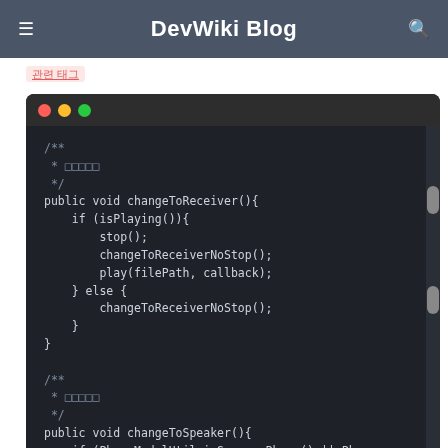DevWiki Blog
[Figure (screenshot): Code editor screenshot showing a dark-themed terminal/IDE window with Java/Android code. The code displays a changeToReceiver() method with if/else logic calling stop(), changeToReceiverNoStop(), play(filePath, callback), and a second method changeToSpeaker() partially visible. Javadoc comments with Unicode characters appear above each method.]